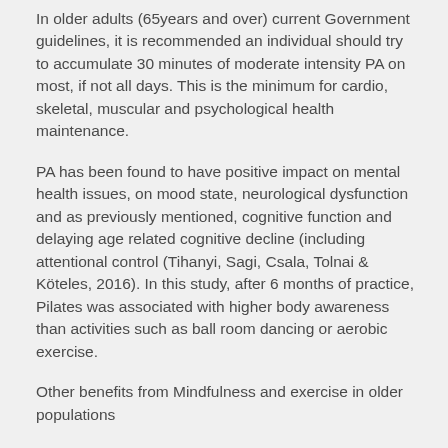In older adults (65years and over) current Government guidelines, it is recommended an individual should try to accumulate 30 minutes of moderate intensity PA on most, if not all days. This is the minimum for cardio, skeletal, muscular and psychological health maintenance.
PA has been found to have positive impact on mental health issues, on mood state, neurological dysfunction and as previously mentioned, cognitive function and delaying age related cognitive decline (including attentional control (Tihanyi, Sagi, Csala, Tolnai & Köteles, 2016). In this study, after 6 months of practice, Pilates was associated with higher body awareness than activities such as ball room dancing or aerobic exercise.
Other benefits from Mindfulness and exercise in older populations
Parra, et al (2019) study, while not examining Pilates per se, rather they examined the impact of mindfulness-based